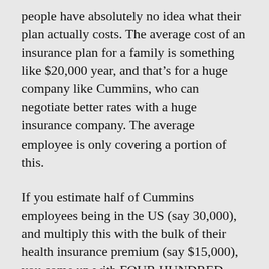people have absolutely no idea what their plan actually costs. The average cost of an insurance plan for a family is something like $20,000 year, and that's for a huge company like Cummins, who can negotiate better rates with a huge insurance company. The average employee is only covering a portion of this.

If you estimate half of Cummins employees being in the US (say 30,000), and multiply this with the bulk of their health insurance premium (say $15,000), you come up with FOUR HUNDRED AND FIFTY MILLION DOLLARS A YEAR of health care costs to the company. Half a BILLION dollars! On an EBITDA of $3B, that's significant!